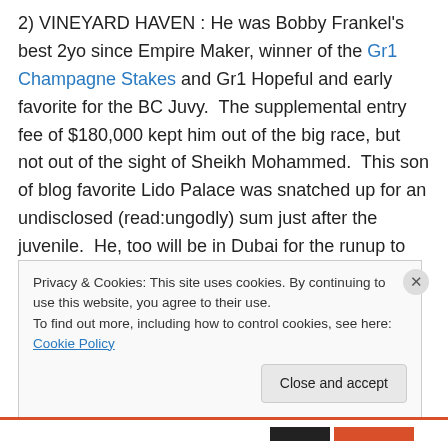2) VINEYARD HAVEN : He was Bobby Frankel's best 2yo since Empire Maker, winner of the Gr1 Champagne Stakes and Gr1 Hopeful and early favorite for the BC Juvy.  The supplemental entry fee of $180,000 kept him out of the big race, but not out of the sight of Sheikh Mohammed.  This son of blog favorite Lido Palace was snatched up for an undisclosed (read:ungodly) sum just after the juvenile.  He, too will be in Dubai for the runup to the Derby, but of all the horses sent there for training over the past several years, Vineyard Haven seems to be the
Privacy & Cookies: This site uses cookies. By continuing to use this website, you agree to their use.
To find out more, including how to control cookies, see here: Cookie Policy
Close and accept